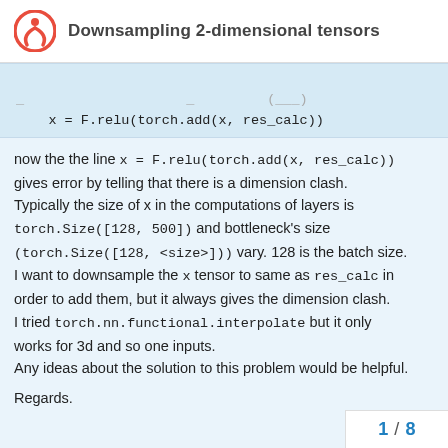Downsampling 2-dimensional tensors
x = F.relu(torch.add(x, res_calc))
now the the line x = F.relu(torch.add(x, res_calc)) gives error by telling that there is a dimension clash. Typically the size of x in the computations of layers is torch.Size([128, 500]) and bottleneck's size (torch.Size([128, <size>])) vary. 128 is the batch size. I want to downsample the x tensor to same as res_calc in order to add them, but it always gives the dimension clash. I tried torch.nn.functional.interpolate but it only works for 3d and so one inputs. Any ideas about the solution to this problem would be helpful.
Regards.
1 / 8